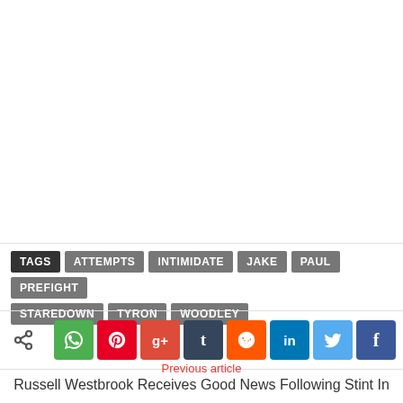TAGS  ATTEMPTS  INTIMIDATE  JAKE  PAUL  PREFIGHT  STAREDOWN  TYRON  WOODLEY
[Figure (other): Social sharing icons row: share symbol, WhatsApp, Pinterest, Google+, Tumblr, Reddit, LinkedIn, Twitter, Facebook]
Previous article
Russell Westbrook Receives Good News Following Stint In